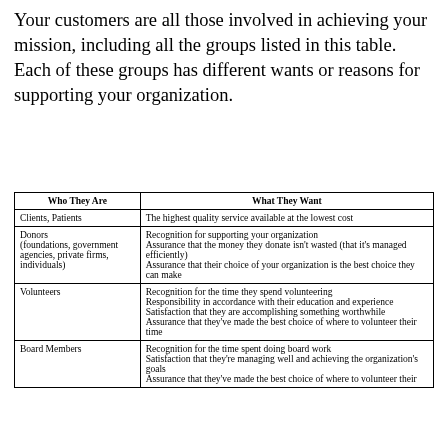Your customers are all those involved in achieving your mission, including all the groups listed in this table. Each of these groups has different wants or reasons for supporting your organization.
| Who They Are | What They Want |
| --- | --- |
| Clients, Patients | The highest quality service available at the lowest cost |
| Donors (foundations, government agencies, private firms, individuals) | Recognition for supporting your organization
Assurance that the money they donate isn't wasted (that it's managed efficiently)
Assurance that their choice of your organization is the best choice they can make |
| Volunteers | Recognition for the time they spend volunteering
Responsibility in accordance with their education and experience
Satisfaction that they are accomplishing something worthwhile
Assurance that they've made the best choice of where to volunteer their time |
| Board Members | Recognition for the time spent doing board work
Satisfaction that they're managing well and achieving the organization's goals
Assurance that they've made the best choice of where to volunteer their |